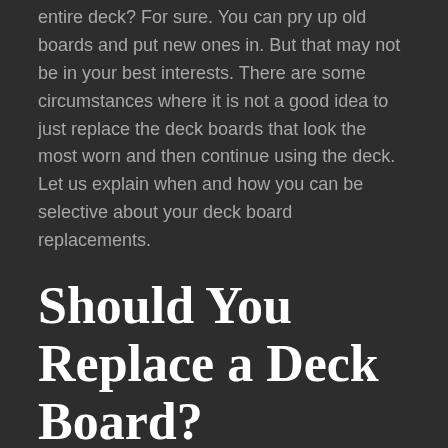entire deck? For sure. You can pry up old boards and put new ones in. But that may not be in your best interests. There are some circumstances where it is not a good idea to just replace the deck boards that look the most worn and then continue using the deck. Let us explain when and how you can be selective about your deck board replacements.
Should You Replace a Deck Board?
A deck doesn't wear evenly. Boards beneath furniture, in high traffic areas, or which are especially exposed to the elements are likely to show wear first. You might be tempted to just